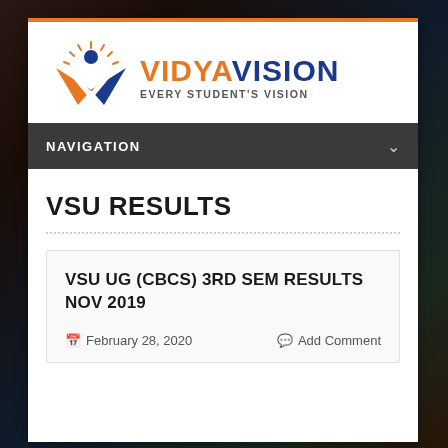[Figure (logo): VidyaVision logo with stylized V mark and text 'VIDYAVISION' with tagline 'EVERY STUDENT'S VISION']
NAVIGATION
VSU RESULTS
VSU UG (CBCS) 3RD SEM RESULTS NOV 2019
February 28, 2020   Add Comment